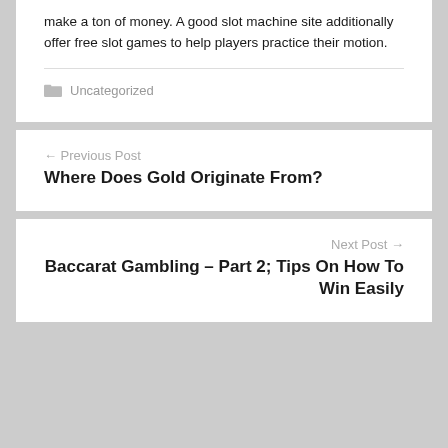make a ton of money. A good slot machine site additionally offer free slot games to help players practice their motion.
Uncategorized
← Previous Post
Where Does Gold Originate From?
Next Post →
Baccarat Gambling – Part 2; Tips On How To Win Easily